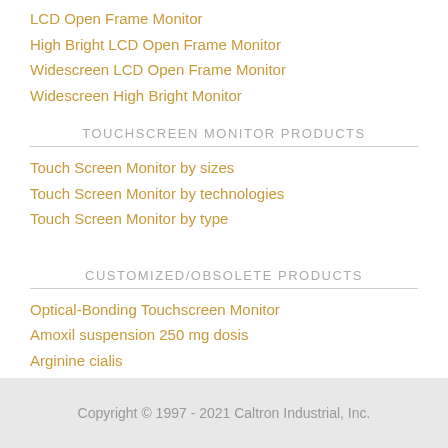LCD Open Frame Monitor
High Bright LCD Open Frame Monitor
Widescreen LCD Open Frame Monitor
Widescreen High Bright Monitor
TOUCHSCREEN MONITOR PRODUCTS
Touch Screen Monitor by sizes
Touch Screen Monitor by technologies
Touch Screen Monitor by type
CUSTOMIZED/OBSOLETE PRODUCTS
Optical-Bonding Touchscreen Monitor
Amoxil suspension 250 mg dosis
Arginine cialis
Copyright © 1997 - 2021 Caltron Industrial, Inc.